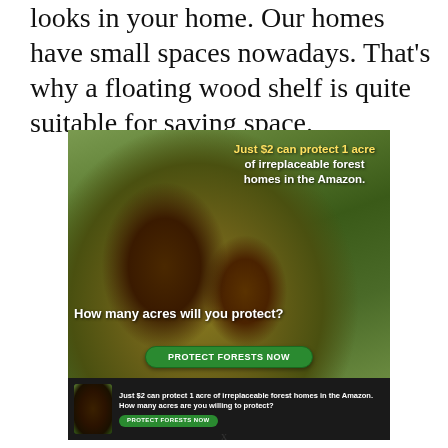looks in your home. Our homes have small spaces nowadays. That's why a floating wood shelf is quite suitable for saving space.
[Figure (photo): Advertisement image showing two monkeys (a large and a small one) on bamboo branches in a forest setting. Text overlay reads: 'Just $2 can protect 1 acre of irreplaceable forest homes in the Amazon. How many acres will you protect?' with a green 'PROTECT FORESTS NOW' button. Below is a smaller footer banner repeating the message.]
x